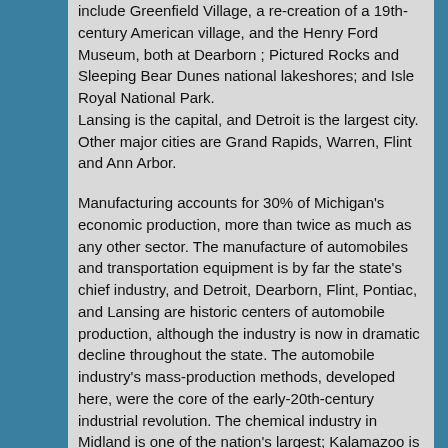include Greenfield Village, a re-creation of a 19th-century American village, and the Henry Ford Museum, both at Dearborn ; Pictured Rocks and Sleeping Bear Dunes national lakeshores; and Isle Royal National Park. Lansing is the capital, and Detroit is the largest city. Other major cities are Grand Rapids, Warren, Flint and Ann Arbor.
Manufacturing accounts for 30% of Michigan's economic production, more than twice as much as any other sector. The manufacture of automobiles and transportation equipment is by far the state's chief industry, and Detroit, Dearborn, Flint, Pontiac, and Lansing are historic centers of automobile production, although the industry is now in dramatic decline throughout the state. The automobile industry's mass-production methods, developed here, were the core of the early-20th-century industrial revolution. The chemical industry in Midland is one of the nation's largest; Kalamazoo is an important paper-manufacturing and pharmaceuticals center; Grand Rapids is noted for its furniture, and Battle Creek for its breakfast foods.
Although mining contributes less to income in the state than either agriculture or manufacturing, Michigan still has